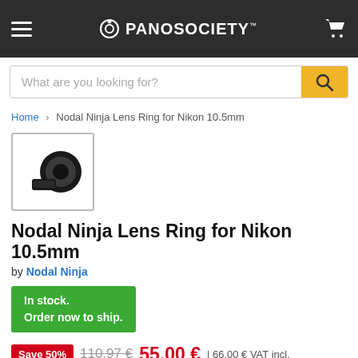PANOSOCIETY
What are you looking for?
Home > Nodal Ninja Lens Ring for Nikon 10.5mm
[Figure (photo): Small thumbnail of Nodal Ninja Lens Ring product — two black metal ring components]
Nodal Ninja Lens Ring for Nikon 10.5mm
by Nodal Ninja
In stock.
Order now to ship.
Save 50%  110.97 €  55.00 € | 66.00 € VAT incl.